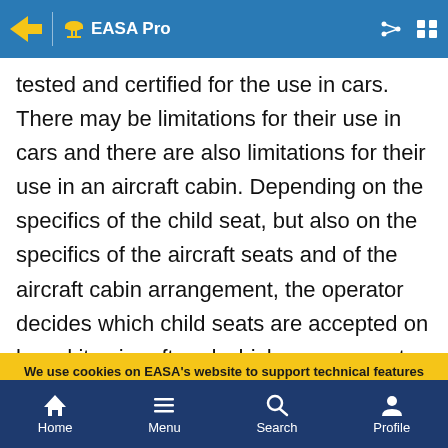EASA Pro
tested and certified for the use in cars. There may be limitations for their use in cars and there are also limitations for their use in an aircraft cabin. Depending on the specifics of the child seat, but also on the specifics of the aircraft seats and of the aircraft cabin arrangement, the operator decides which child seats are accepted on board its aircraft and which ones cannot be
We use cookies on EASA's website to support technical features that enhance your user experience. For more information, see our data protection page. You can enable and disable cookies by selecting the options below.
Mandatory cookies
Analytics
Home  Menu  Search  Profile